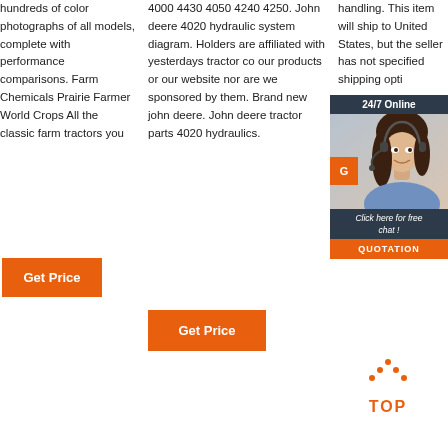hundreds of color photographs of all models, complete with performance comparisons. Farm Chemicals Prairie Farmer World Crops All the classic farm tractors you
[Figure (other): Orange 'Get Price' button in column 1]
4000 4430 4050 4240 4250. John deere 4020 hydraulic system diagram. Holders are affiliated with yesterdays tractor co our products or our website nor are we sponsored by them. Brand new john deere. John deere tractor parts 4020 hydraulics.
[Figure (other): Orange 'Get Price' button in column 2]
handling. This item will ship to United States, but the seller has not specified shipping opti
[Figure (other): 24/7 Online chat widget with woman photo, 'Click here for free chat!' text, orange G button, and QUOTATION button]
[Figure (other): TOP back-to-top button with orange dots forming arrow and text TOP]